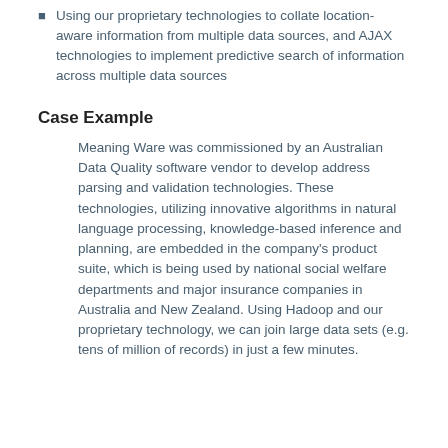Using our proprietary technologies to collate location-aware information from multiple data sources, and AJAX technologies to implement predictive search of information across multiple data sources
Case Example
Meaning Ware was commissioned by an Australian Data Quality software vendor to develop address parsing and validation technologies. These technologies, utilizing innovative algorithms in natural language processing, knowledge-based inference and planning, are embedded in the company's product suite, which is being used by national social welfare departments and major insurance companies in Australia and New Zealand. Using Hadoop and our proprietary technology, we can join large data sets (e.g. tens of million of records) in just a few minutes.